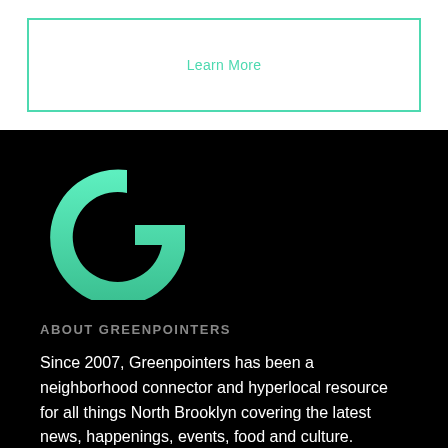[Figure (other): A bordered box with a 'Learn More' button link in teal/mint color on white background]
[Figure (logo): Large letter G logo in mint/teal gradient color on black background — Greenpointers logo]
ABOUT GREENPOINTERS
Since 2007, Greenpointers has been a neighborhood connector and hyperlocal resource for all things North Brooklyn covering the latest news, happenings, events, food and culture.
READ MORE >